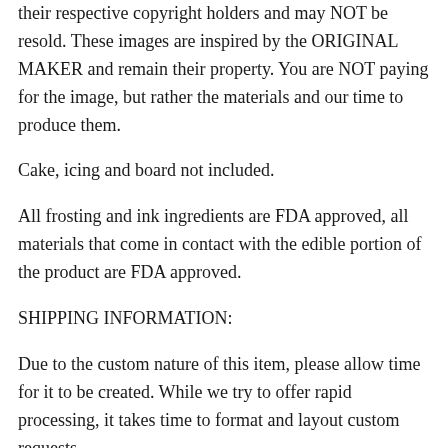their respective copyright holders and may NOT be resold. These images are inspired by the ORIGINAL MAKER and remain their property. You are NOT paying for the image, but rather the materials and our time to produce them.
Cake, icing and board not included.
All frosting and ink ingredients are FDA approved, all materials that come in contact with the edible portion of the product are FDA approved.
SHIPPING INFORMATION:
Due to the custom nature of this item, please allow time for it to be created. While we try to offer rapid processing, it takes time to format and layout custom requests.